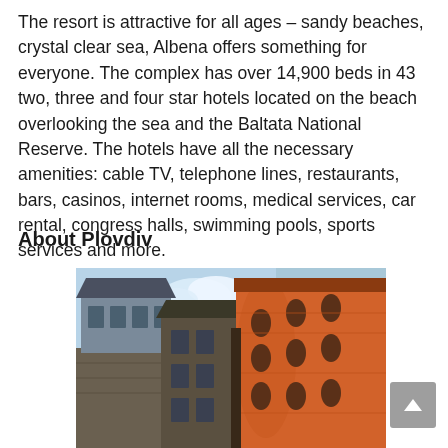The resort is attractive for all ages – sandy beaches, crystal clear sea, Albena offers something for everyone. The complex has over 14,900 beds in 43 two, three and four star hotels located on the beach overlooking the sea and the Baltata National Reserve. The hotels have all the necessary amenities: cable TV, telephone lines, restaurants, bars, casinos, internet rooms, medical services, car rental, congress halls, swimming pools, sports services and more.
About Plovdiv
[Figure (photo): Photo of Plovdiv old town buildings — historic multi-story structures with traditional Bulgarian Renaissance architecture, stone base, wooden upper floors with bay windows, and a prominent orange/terracotta curved building on the right. Blue sky visible in upper left.]